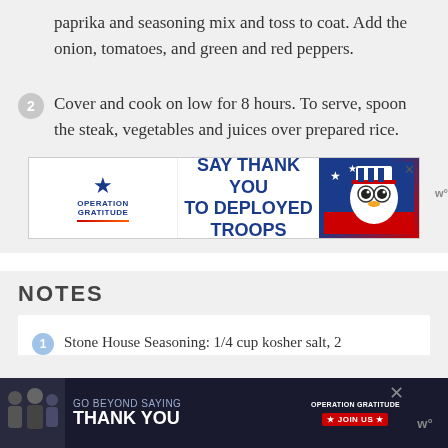paprika and seasoning mix and toss to coat. Add the onion, tomatoes, and green and red peppers.
2. Cover and cook on low for 8 hours. To serve, spoon the steak, vegetables and juices over prepared rice.
[Figure (infographic): Operation Gratitude advertisement banner: SAY THANK YOU TO DEPLOYED TROOPS]
NOTES
1. Stone House Seasoning: 1/4 cup kosher salt, 2
[Figure (infographic): Operation Gratitude bottom advertisement: GO BEYOND SAYING THANK YOU - JOIN US]